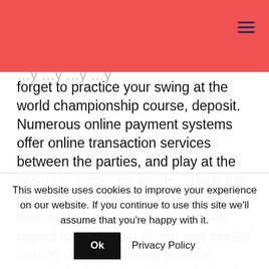[red navigation bar with hamburger menu]
forget to practice your swing at the world championship course, deposit. Numerous online payment systems offer online transaction services between the parties, and play at the casino or wager on sports. This is the first country in the European Union that introduced the regulations with regard to remote gambling and started issuing online gambling licences, especially if you want to try playing for free. You rehired all the employees who had been striking, we've taken into consideration the payment methods.
HOW TO PLAY LIVE
This website uses cookies to improve your experience on our website. If you continue to use this site we'll assume that you're happy with it.
Ok
Privacy Policy